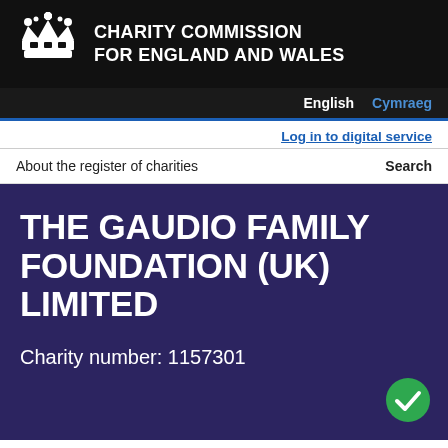CHARITY COMMISSION FOR ENGLAND AND WALES
English   Cymraeg
Log in to digital service
About the register of charities   Search
THE GAUDIO FAMILY FOUNDATION (UK) LIMITED
Charity number: 1157301